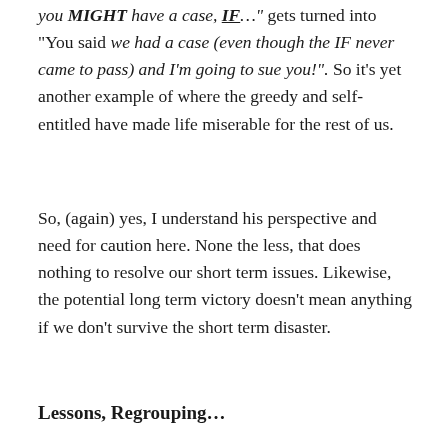you MIGHT have a case, IF…" gets turned into "You said we had a case (even though the IF never came to pass) and I'm going to sue you!". So it's yet another example of where the greedy and self-entitled have made life miserable for the rest of us.
So, (again) yes, I understand his perspective and need for caution here. None the less, that does nothing to resolve our short term issues. Likewise, the potential long term victory doesn't mean anything if we don't survive the short term disaster.
Lessons, Regrouping…